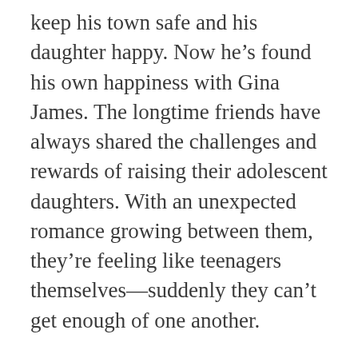keep his town safe and his daughter happy. Now he's found his own happiness with Gina James. The longtime friends have always shared the challenges and rewards of raising their adolescent daughters. With an unexpected romance growing between them, they're feeling like teenagers themselves—suddenly they can't get enough of one another.
And just when things are really taking off, their lives are suddenly thrown into chaos. When Mac's long-lost ex-wife shows up in town, drama takes on a whole new meaning. Mac and Gina know they're meant to be together, but can their newfound love withstand the pressure?